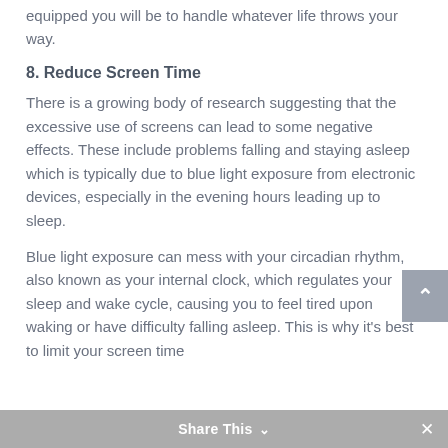equipped you will be to handle whatever life throws your way.
8. Reduce Screen Time
There is a growing body of research suggesting that the excessive use of screens can lead to some negative effects. These include problems falling and staying asleep which is typically due to blue light exposure from electronic devices, especially in the evening hours leading up to sleep.
Blue light exposure can mess with your circadian rhythm, also known as your internal clock, which regulates your sleep and wake cycle, causing you to feel tired upon waking or have difficulty falling asleep. This is why it's best to limit your screen time
Share This